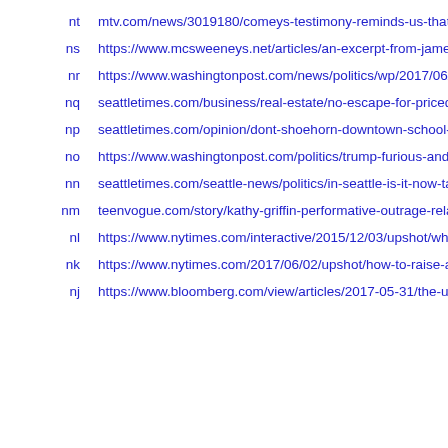nt  mtv.com/news/3019180/comeys-testimony-reminds-us-that-
ns  https://www.mcsweeneys.net/articles/an-excerpt-from-james
nr  https://www.washingtonpost.com/news/politics/wp/2017/06/0
nq  seattletimes.com/business/real-estate/no-escape-for-priced-
np  seattletimes.com/opinion/dont-shoehorn-downtown-school-i
no  https://www.washingtonpost.com/politics/trump-furious-and-f
nn  seattletimes.com/seattle-news/politics/in-seattle-is-it-now-tab
nm  teenvogue.com/story/kathy-griffin-performative-outrage-relat
nl  https://www.nytimes.com/interactive/2015/12/03/upshot/wha
nk  https://www.nytimes.com/2017/06/02/upshot/how-to-raise-a-
nj  https://www.bloomberg.com/view/articles/2017-05-31/the-u-s